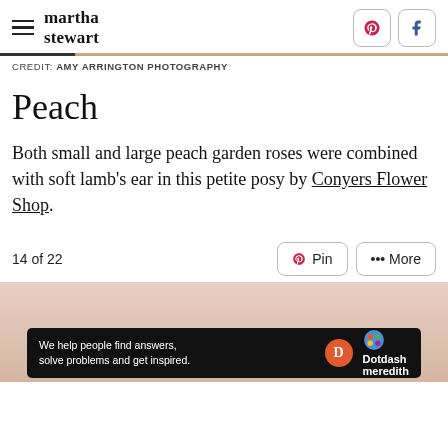martha stewart
CREDIT: AMY ARRINGTON PHOTOGRAPHY
Peach
Both small and large peach garden roses were combined with soft lamb's ear in this petite posy by Conyers Flower Shop.
14 of 22
[Figure (photo): Partial view of a peach garden rose arrangement, light background]
[Figure (infographic): Dotdash Meredith ad bar: 'We help people find answers, solve problems and get inspired.']